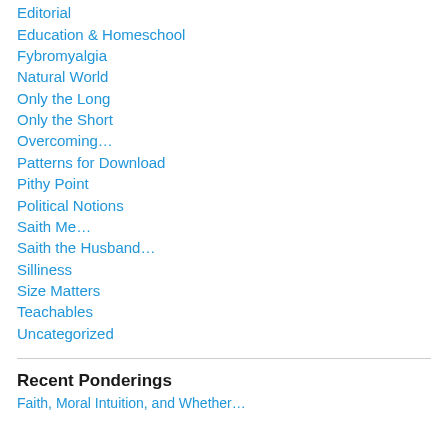Editorial
Education & Homeschool
Fybromyalgia
Natural World
Only the Long
Only the Short
Overcoming…
Patterns for Download
Pithy Point
Political Notions
Saith Me…
Saith the Husband…
Silliness
Size Matters
Teachables
Uncategorized
Recent Ponderings
Faith, Moral Intuition, and Whether…